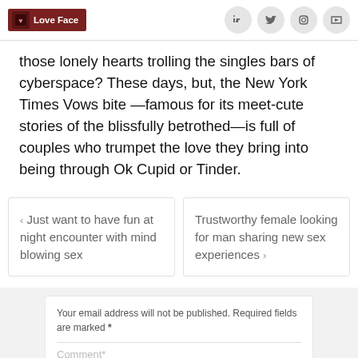Love Face
those lonely hearts trolling the singles bars of cyberspace? These days, but, the New York Times Vows bite —famous for its meet-cute stories of the blissfully betrothed—is full of couples who trumpet the love they bring into being through Ok Cupid or Tinder.
‹ Just want to have fun at night encounter with mind blowing sex
Trustworthy female looking for man sharing new sex experiences ›
Your email address will not be published. Required fields are marked *
Comment*